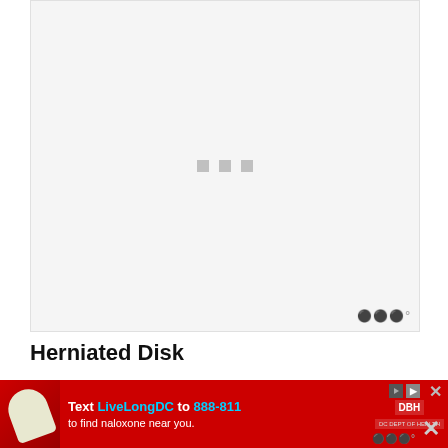[Figure (photo): Loading placeholder for a medical illustration of a herniated disk — grey background with three grey loading indicator squares centered in the image area. A small watermark logo appears in the bottom right corner of the image box.]
Herniated Disk
One of the most dramatic injuries to the
[Figure (other): Advertisement banner at bottom of page: red background with 'Text LiveLongDC to 888-811 to find naloxone near you.' text, with DBH logo and other small logos. Play and close buttons visible.]